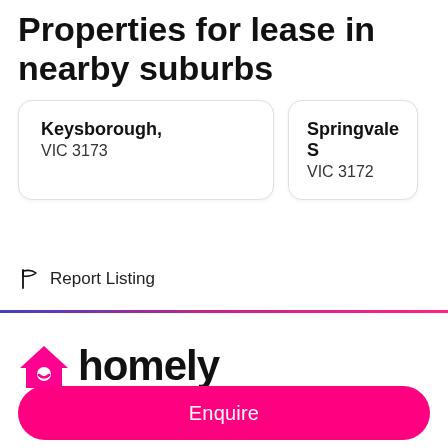Properties for lease in nearby suburbs
Keysborough, VIC 3173
Springvale S VIC 3172
Report Listing
[Figure (logo): Homely logo with pink house icon and 'homely' wordmark]
Enquire